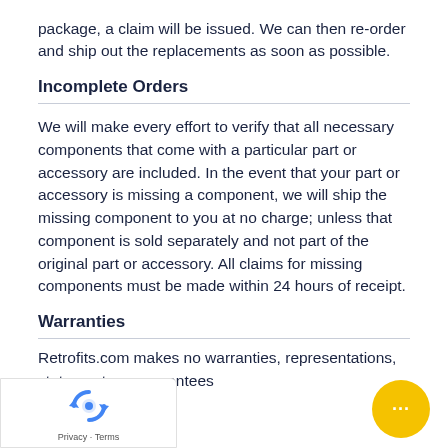package, a claim will be issued. We can then re-order and ship out the replacements as soon as possible.
Incomplete Orders
We will make every effort to verify that all necessary components that come with a particular part or accessory are included. In the event that your part or accessory is missing a component, we will ship the missing component to you at no charge; unless that component is sold separately and not part of the original part or accessory. All claims for missing components must be made within 24 hours of receipt.
Warranties
Retrofits.com makes no warranties, representations, statements or guarantees